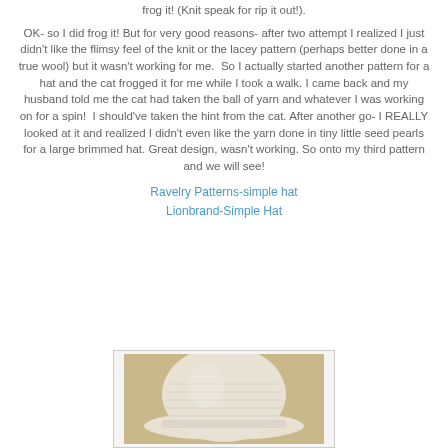frog it! (Knit speak for rip it out!).
OK- so I did frog it! But for very good reasons- after two attempt I realized I just didn't like the flimsy feel of the knit or the lacey pattern (perhaps better done in a true wool) but it wasn't working for me. So I actually started another pattern for a hat and the cat frogged it for me while I took a walk. I came back and my husband told me the cat had taken the ball of yarn and whatever I was working on for a spin! I should've taken the hint from the cat. After another go- I REALLY looked at it and realized I didn't even like the yarn done in tiny little seed pearls for a large brimmed hat. Great design, wasn't working. So onto my third pattern and we will see!
Ravelry Patterns-simple hat
Lionbrand-Simple Hat
[Figure (photo): Photo of a knitted hat in cream/off-white color on a tan/beige background, showing textured knit stitches.]